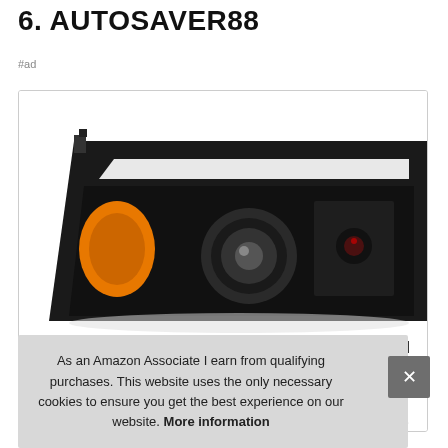6. AUTOSAVER88
#ad
[Figure (photo): Product photo of AUTOSAVER88 black projector headlight assembly with LED DRL bar and amber corner light, for a truck (Ford F-150 style). Two headlights visible, one fully shown and one partially.]
As an Amazon Associate I earn from qualifying purchases. This website uses the only necessary cookies to ensure you get the best experience on our website. More information